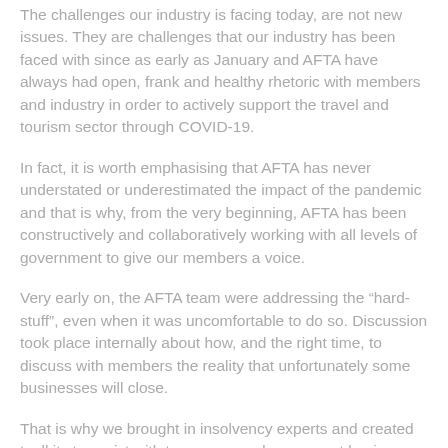The challenges our industry is facing today, are not new issues. They are challenges that our industry has been faced with since as early as January and AFTA have always had open, frank and healthy rhetoric with members and industry in order to actively support the travel and tourism sector through COVID-19.
In fact, it is worth emphasising that AFTA has never understated or underestimated the impact of the pandemic and that is why, from the very beginning, AFTA has been constructively and collaboratively working with all levels of government to give our members a voice.
Very early on, the AFTA team were addressing the “hard-stuff”, even when it was uncomfortable to do so. Discussion took place internally about how, and the right time, to discuss with members the reality that unfortunately some businesses will close.
That is why we brought in insolvency experts and created toolkits to assist with temporary and permanent business closure. We sought guidance from legal experts, delivered webinars which provided support for members’ mental-welling and established communications tools to help members contemplate the scenarios and understand the steps that they may need to take in managing the financial health of their